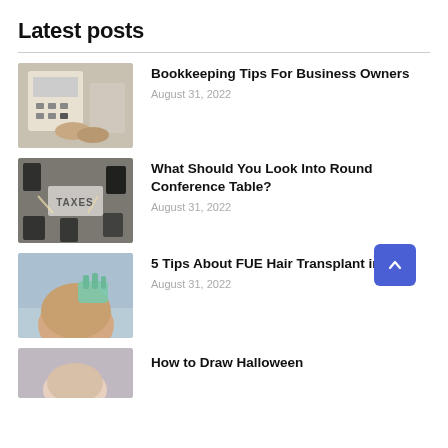Latest posts
Bookkeeping Tips For Business Owners
August 31, 2022
What Should You Look Into Round Conference Table?
August 31, 2022
5 Tips About FUE Hair Transplant in UK
August 31, 2022
How to Draw Halloween